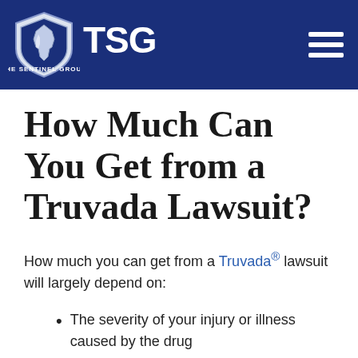TSG The Sentinel Group
How Much Can You Get from a Truvada Lawsuit?
How much you can get from a Truvada® lawsuit will largely depend on:
The severity of your injury or illness caused by the drug
The financial value of your economic and